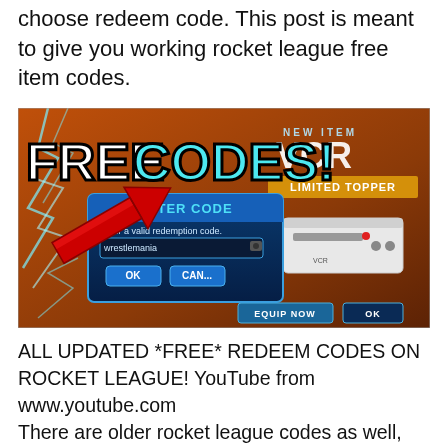choose redeem code. This post is meant to give you working rocket league free item codes.
[Figure (screenshot): Screenshot of a Rocket League 'FREE CODES!' promotional image showing an 'ENTER CODE' dialog box with a redemption code field, OK and CANCEL buttons, a large red arrow pointing to the dialog, a 'VCR LIMITED TOPPER' item display, and 'EQUIP NOW' / 'OK' buttons at the bottom. The background shows lightning effects.]
ALL UPDATED *FREE* REDEEM CODES ON ROCKET LEAGUE! YouTube from www.youtube.com
There are older rocket league codes as well,